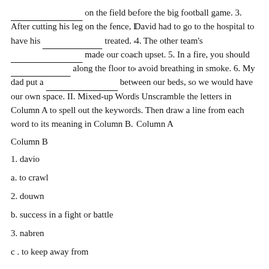______ on the field before the big football game. 3. After cutting his leg on the fence, David had to go to the hospital to have his ______ treated. 4. The other team's ______ made our coach upset. 5. In a fire, you should ______ along the floor to avoid breathing in smoke. 6. My dad put a ______ between our beds, so we would have our own space. II. Mixed-up Words Unscramble the letters in Column A to spell out the keywords. Then draw a line from each word to its meaning in Column B. Column A
Column B
1. davio
a. to crawl
2. douwn
b. success in a fight or battle
3. nabren
c . to keep away from